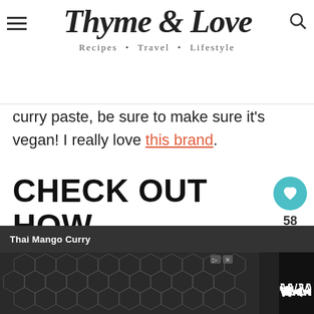Thyme & Love — Recipes • Travel • Lifestyle
curry paste, be sure to make sure it's vegan! I really love this brand.
CHECK OUT HOW EASY IT IS TO MAKE THIS RECIPE!
58
[Figure (other): What's Next panel showing Purple Potato and Kale... article thumbnail]
Thai Mango Curry
[Figure (other): Advertisement banner with hexagonal pattern and ad/close icons, Whisk wordmark logo]